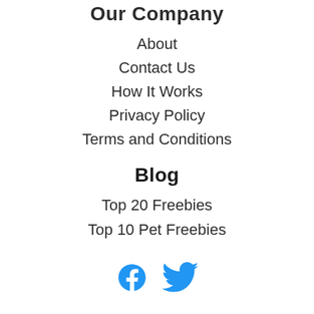Our Company
About
Contact Us
How It Works
Privacy Policy
Terms and Conditions
Blog
Top 20 Freebies
Top 10 Pet Freebies
[Figure (logo): Social media icons: a blue Facebook-style arc logo and a blue Twitter bird icon]